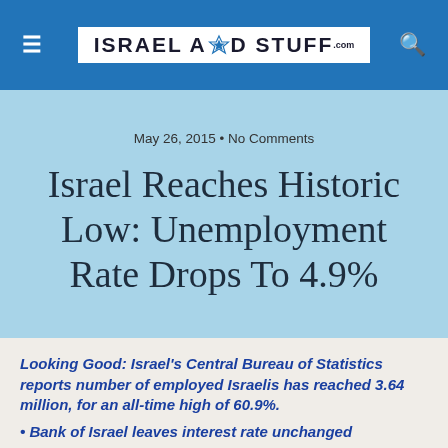[Figure (logo): Israel And Stuff website logo with Star of David in the header navigation bar]
May 26, 2015 • No Comments
Israel Reaches Historic Low: Unemployment Rate Drops To 4.9%
Looking Good: Israel's Central Bureau of Statistics reports number of employed Israelis has reached 3.64 million, for an all-time high of 60.9%.
• Bank of Israel leaves interest rate unchanged